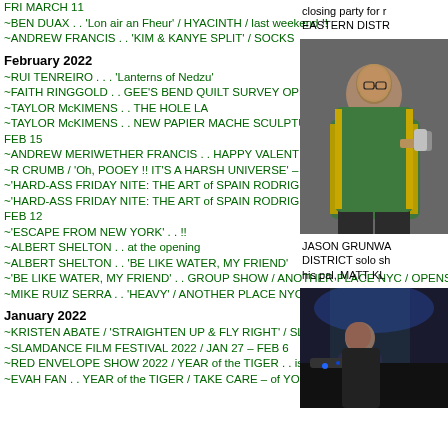FRI MARCH 11
~BEN DUAX . . 'Lon air an Fheur' / HYACINTH / last weekend !!
~ANDREW FRANCIS . . 'KIM & KANYE SPLIT' / SOCKS
February 2022
~RUI TENREIRO . . . 'Lanterns of Nedzu'
~FAITH RINGGOLD . . GEE'S BEND QUILT SURVEY OPENING / WHITNEY MUSEUM / NOV 2002
~TAYLOR McKIMENS . . THE HOLE LA
~TAYLOR McKIMENS . . NEW PAPIER MACHE SCULPTURES . . THE HOLE LA – DEBUT OPENING / TUES FEB 15
~ANDREW MERIWETHER FRANCIS . . HAPPY VALENTINE'S DAY CANDY / P.A.D.
~R CRUMB / 'Oh, POOEY !! IT'S A HARSH UNIVERSE' – signed exhibition card, NOV 2000 !!
~'HARD-ASS FRIDAY NITE: THE ART of SPAIN RODRIGUEZ . . . SOME ARCHIVAL PIX'
~'HARD-ASS FRIDAY NITE: THE ART of SPAIN RODRIGUEZ' . . ANDREW EDLIN GALLERY / OPENING SAT FEB 12
~'ESCAPE FROM NEW YORK' . . !!
~ALBERT SHELTON . . at the opening
~ALBERT SHELTON . . 'BE LIKE WATER, MY FRIEND'
~'BE LIKE WATER, MY FRIEND' . . GROUP SHOW / ANOTHER PLACE NYC / OPENS THURS FEB 10
~MIKE RUIZ SERRA . . 'HEAVY' / ANOTHER PLACE NYC / LAST WEEKEND
January 2022
~KRISTEN ABATE / 'STRAIGHTEN UP & FLY RIGHT' / SLAMDANCE 2022
~SLAMDANCE FILM FESTIVAL 2022 / JAN 27 – FEB 6
~RED ENVELOPE SHOW 2022 / YEAR of the TIGER . . is now online !!
~EVAH FAN . . YEAR of the TIGER / TAKE CARE – of YOURSELF !
closing party for r EASTERN DISTR
[Figure (photo): A man at an event, wearing a green jacket with yellow stripes, holding a drink can. Indoor setting.]
JASON GRUNWA DISTRICT solo sh his pal, MATT KL
[Figure (photo): A person at an event, appears to be indoors, dark background with blue lighting.]